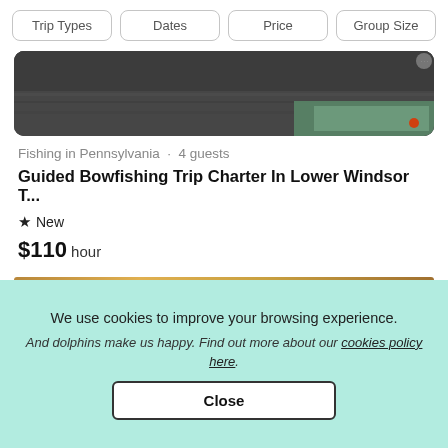Trip Types | Dates | Price | Group Size
[Figure (photo): Partial image of a bowfishing boat/trailer at the bottom of a card listing]
Fishing in Pennsylvania · 4 guests
Guided Bowfishing Trip Charter In Lower Windsor T...
★ New
$110 hour
We use cookies to improve your browsing experience.
And dolphins make us happy. Find out more about our cookies policy here.
Close